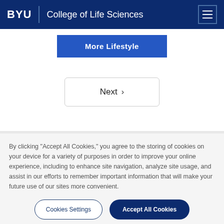BYU | College of Life Sciences
More Lifestyle
Next >
By clicking “Accept All Cookies,” you agree to the storing of cookies on your device for a variety of purposes in order to improve your online experience, including to enhance site navigation, analyze site usage, and assist in our efforts to remember important information that will make your future use of our sites more convenient.
Cookies Settings
Accept All Cookies